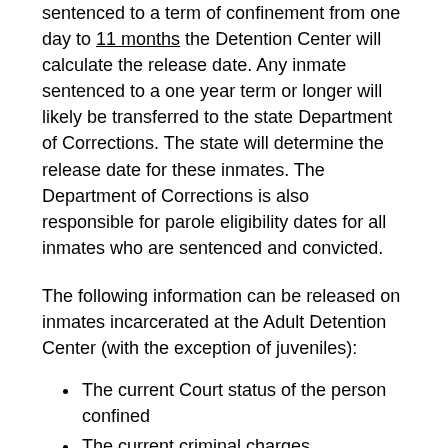sentenced to a term of confinement from one day to 11 months the Detention Center will calculate the release date. Any inmate sentenced to a one year term or longer will likely be transferred to the state Department of Corrections. The state will determine the release date for these inmates. The Department of Corrections is also responsible for parole eligibility dates for all inmates who are sentenced and convicted.
The following information can be released on inmates incarcerated at the Adult Detention Center (with the exception of juveniles):
The current Court status of the person confined
The current criminal charges
The bond – if one exists
The next scheduled Court date
The release date – if the inmate has been sentenced
For information on an inmate call 703-792-5811 between 8 a.m. and 4 p.m. Monday through Friday excluding holidays. After hours call 703-792-6420. For information on those persons held at the Prince William County Police Garfield Substation call 703-792-